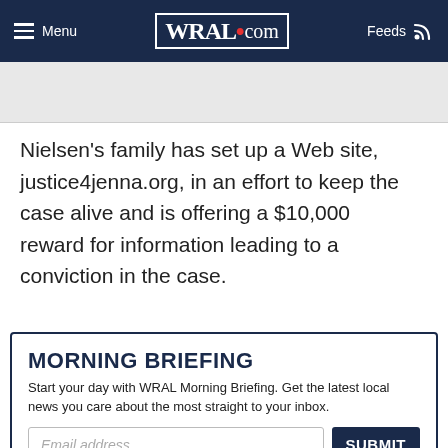Menu | WRAL.com | Feeds
Nielsen's family has set up a Web site, justice4jenna.org, in an effort to keep the case alive and is offering a $10,000 reward for information leading to a conviction in the case.
MORNING BRIEFING
Start your day with WRAL Morning Briefing. Get the latest local news you care about the most straight to your inbox.